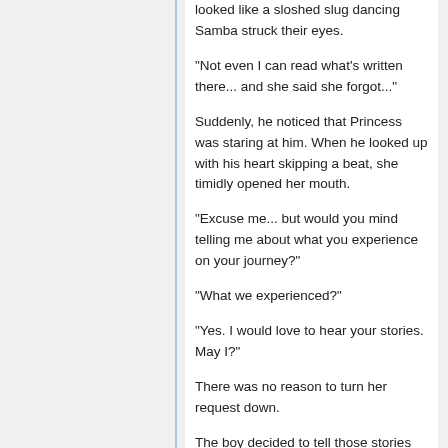looked like a sloshed slug dancing Samba struck their eyes.
"Not even I can read what's written there... and she said she forgot..."
Suddenly, he noticed that Princess was staring at him. When he looked up with his heart skipping a beat, she timidly opened her mouth.
"Excuse me... but would you mind telling me about what you experience on your journey?"
"What we experienced?"
"Yes. I would love to hear your stories. May I?"
There was no reason to turn her request down.
The boy decided to tell those stories she